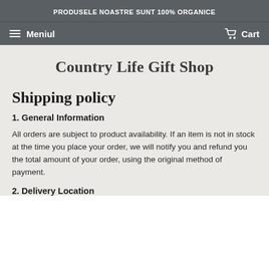PRODUSELE NOASTRE SUNT 100% ORGANICE
Meniul   Cart
Country Life Gift Shop
Shipping policy
1. General Information
All orders are subject to product availability. If an item is not in stock at the time you place your order, we will notify you and refund you the total amount of your order, using the original method of payment.
2. Delivery Location